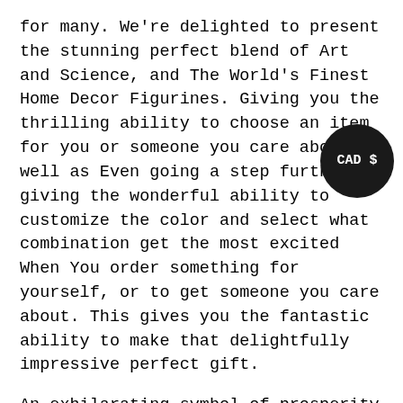for many. We're delighted to present the stunning perfect blend of Art and Science, and The World's Finest Home Decor Figurines. Giving you the thrilling ability to choose an item for you or someone you care about as well as Even going a step further, giving the wonderful ability to customize the color and select what combination get the most excited When You order something for yourself, or to get someone you care about. This gives you the fantastic ability to make that delightfully impressive perfect gift.
An exhilarating symbol of prosperity and success, Bismuth is #83 on the periodic table. It is a crystallized metal surprisingly 8x rarer than silver, metal smithed similar to gold with its captivating luster. Yet this metal produces amazingly vivid colors, even breathtaking rainbows like a soap bubble with its shockingly thin light wave thin rust (oxide).
Everyone is calling this, the real Eye-Candy as the company